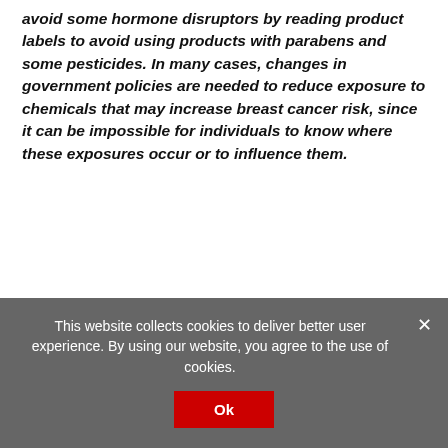avoid some hormone disruptors by reading product labels to avoid using products with parabens and some pesticides. In many cases, changes in government policies are needed to reduce exposure to chemicals that may increase breast cancer risk, since it can be impossible for individuals to know where these exposures occur or to influence them.
1) Make clear delineations in the patient breast cancer PDQ of breast cancer risk factors that are modifiable and not modifiable. The health professional PDQ presents risk factors in categories such as "Factors With Adequate Evidence of"
This website collects cookies to deliver better user experience. By using our website, you agree to the use of cookies.